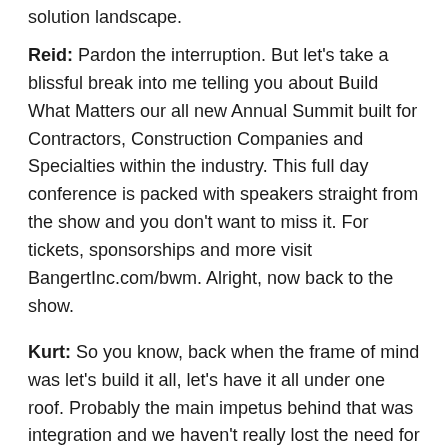solution landscape.
Reid: Pardon the interruption. But let's take a blissful break into me telling you about Build What Matters our all new Annual Summit built for Contractors, Construction Companies and Specialties within the industry. This full day conference is packed with speakers straight from the show and you don't want to miss it. For tickets, sponsorships and more visit BangertInc.com/bwm. Alright, now back to the show.
Kurt: So you know, back when the frame of mind was let's build it all, let's have it all under one roof. Probably the main impetus behind that was integration and we haven't really lost the need for integration. Would you agree?